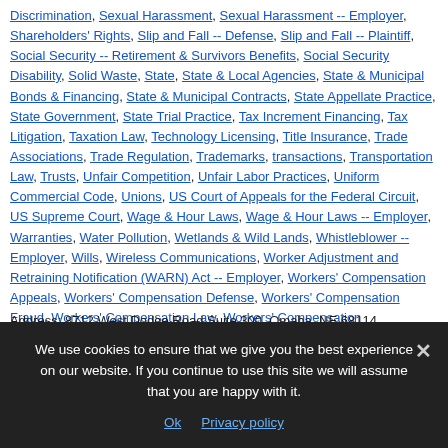Discrimination, Sexual Harassment, Sexual Harassment -- Employer, Shareholders' Rights, Slip and Fall -- Defense, Slip and Fall -- Plaintiff, Social Security -- Retirement & Survivors Benefits, Social Security Disability, Solid Waste, State, State & Local Agencies, State & Municipal Bonds & Financing, State & Municipal Contracts, State Appellate Practice, State Government, State Trial Practice, Tax Increment Financing, Tax Litigation, Taxation Law, Technology Licensing, Title Insurance, Trade Associations, Trade Regulation, Trademarks, transactions, Transportation Law, Trusts, Unfair Competition, Unfair Labor Practices, Uniform Commercial Code, Unions, US Court of Appeals for the Federal Circuit, US Supreme Court, Wage & Hour Laws, Wage & Hour Laws -- Employer, Warranties, Water Pollution, Wetlands & Wild Lands, Whistleblower -- Employer, Wills, Wireless Communications, Worker Adjustment and Retraining Notification (WARN) Act -- Employer, Workers' Compensation Appeals, Workers' Compensation Defense, Workers' Compensation Fraud, Workers' Compensation Law, Workers' Compensation Subrogation, Workouts, Wrongful Death - Plaintiff, Wrongful Death -- Defense, Wrongful Termination -- Employer
1
Address: 8712 West Dodge Road Suite 300, Omaha, NE 68114
We use cookies to ensure that we give you the best experience on our website. If you continue to use this site we will assume that you are happy with it.
Ok  Privacy policy